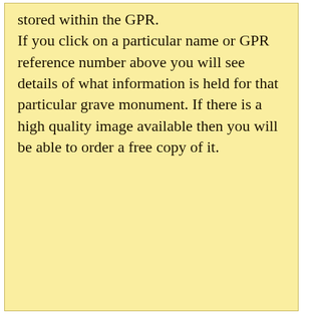stored within the GPR. If you click on a particular name or GPR reference number above you will see details of what information is held for that particular grave monument. If there is a high quality image available then you will be able to order a free copy of it.